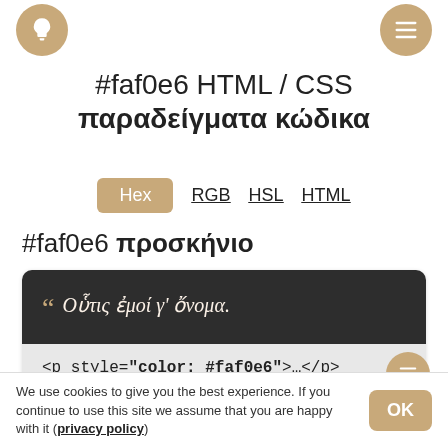lightbulb icon (left) and menu icon (right)
#faf0e6 HTML / CSS παραδείγματα κώδικα
Hex RGB HSL HTML
#faf0e6 προσκήνιο
" Οὗτις ἐμοί γ' ὄνομα.
<p style="color: #faf0e6">…</p>
#faf0e6 παρασκήνιο
We use cookies to give you the best experience. If you continue to use this site we assume that you are happy with it (privacy policy)